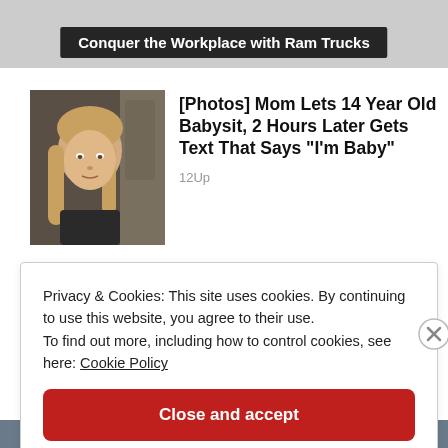[Figure (screenshot): Top banner ad area with gray background and text overlay: Conquer the Workplace with Ram Trucks]
Conquer the Workplace with Ram Trucks
[Figure (photo): Photo of a young blonde girl, approximately 14 years old, looking at camera]
[Photos] Mom Lets 14 Year Old Babysit, 2 Hours Later Gets Text That Says "I'm Baby"
12Up
Privacy & Cookies: This site uses cookies. By continuing to use this website, you agree to their use.
To find out more, including how to control cookies, see here: Cookie Policy
Close and accept